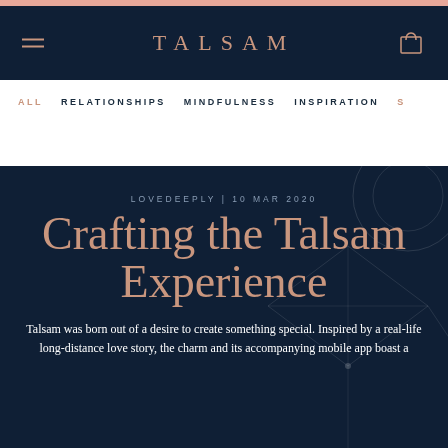TALSAM
ALL  RELATIONSHIPS  MINDFULNESS  INSPIRATION  S
LOVEDEEPLY | 10 MAR 2020
Crafting the Talsam Experience
Talsam was born out of a desire to create something special. Inspired by a real-life long-distance love story, the charm and its accompanying mobile app boast a